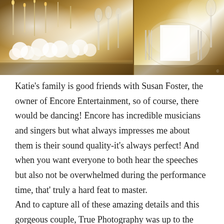[Figure (photo): Wedding reception table setting with elegant floral arrangements, candelabras, crystal glassware, white flowers, and place settings with gold accents. Two-panel photo collage showing decorative tablescape details.]
Katie’s family is good friends with Susan Foster, the owner of Encore Entertainment, so of course, there would be dancing! Encore has incredible musicians and singers but what always impresses me about them is their sound quality-it’s always perfect!  And when you want everyone to both hear the speeches but also not be overwhelmed during the performance time, that’ truly a hard feat to master.
And to capture all of these amazing details and this gorgeous couple, True Photography was up to the task! Those photos, like every event of mine they shoot, were